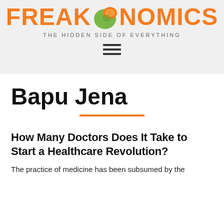[Figure (logo): Freakonomics logo with orange fruit graphic between FREAK and NOMICS text, tagline 'THE HIDDEN SIDE OF EVERYTHING' below, and hamburger menu icon]
Bapu Jena
How Many Doctors Does It Take to Start a Healthcare Revolution?
The practice of medicine has been subsumed by the